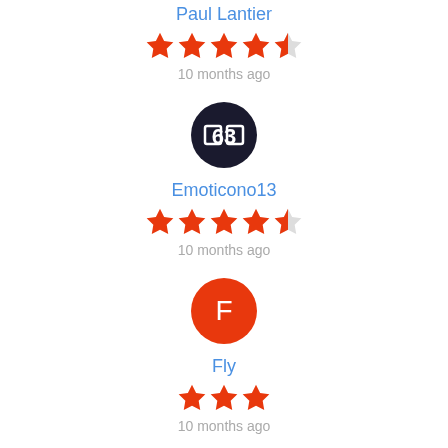Paul Lantier
★★★★½ (4.5 stars)
10 months ago
[Figure (illustration): Avatar for Emoticono13 – dark circular icon with stylized '63' logo in white on black background]
Emoticono13
★★★★½ (4.5 stars)
10 months ago
[Figure (illustration): Avatar for Fly – orange circle with white letter F]
Fly
★★★ (3 stars)
10 months ago
[Figure (photo): Avatar for BAPTISTE DE ALMEIDA POURTAU – colorful circular photo]
BAPTISTE DE ALMEIDA POURTAU
★★★★½ (4.5 stars)